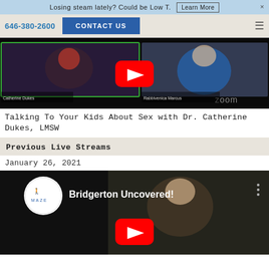Losing steam lately? Could be Low T. Learn More ×
646-380-2600  CONTACT US  ☰
[Figure (screenshot): Zoom video call thumbnail showing two people, with YouTube play button overlay, 'zoom' watermark at bottom right. Labels: Catherine Dukes, Rabbivenica Marcus.]
Talking To Your Kids About Sex with Dr. Catherine Dukes, LMSW
Previous Live Streams
January 26, 2021
[Figure (screenshot): YouTube video thumbnail for 'Bridgerton Uncovered!' showing a woman speaking, with MAZE logo circle top left, three-dot menu icon top right, and YouTube play button overlay.]